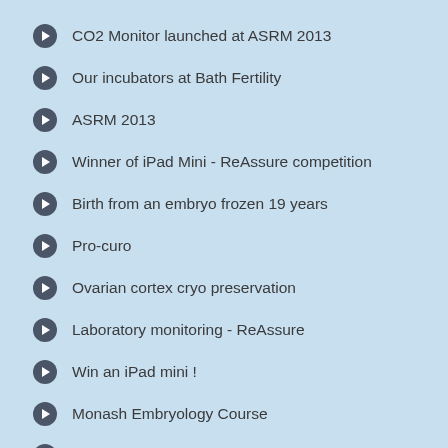CO2 Monitor launched at ASRM 2013
Our incubators at Bath Fertility
ASRM 2013
Winner of iPad Mini - ReAssure competition
Birth from an embryo frozen 19 years
Pro-curo
Ovarian cortex cryo preservation
Laboratory monitoring - ReAssure
Win an iPad mini !
Monash Embryology Course
Cryo - preserving Cartilage